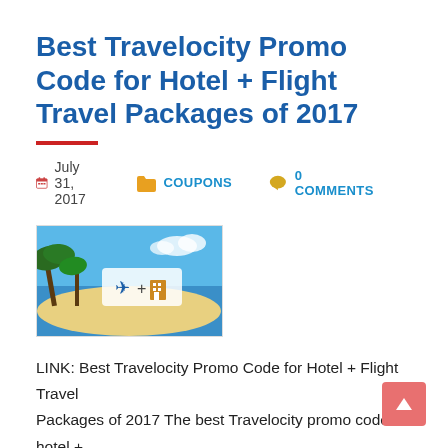Best Travelocity Promo Code for Hotel + Flight Travel Packages of 2017
July 31, 2017   COUPONS   0 COMMENTS
[Figure (photo): Thumbnail image of a tropical beach scene with airplane and hotel icons, representing hotel + flight travel packages]
LINK: Best Travelocity Promo Code for Hotel + Flight Travel Packages of 2017 The best Travelocity promo code for hotel + flight travel package coupon of 2017 has just been released with a $175 off packages of $1,750!  We've include a few extra travel